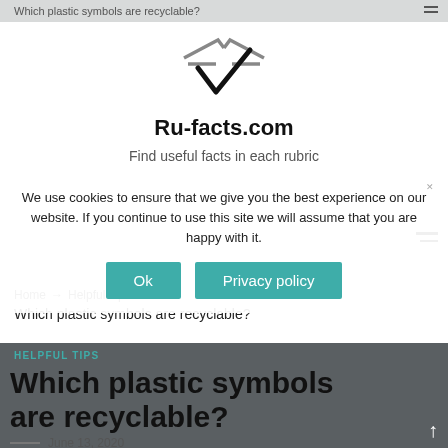Which plastic symbols are recyclable?
[Figure (logo): Ru-facts.com logo: stylized checkmark/arrow symbol in gray]
Ru-facts.com
Find useful facts in each rubric
Home → Helpful Tips → Which plastic symbols are recyclable?
HELPFUL TIPS
Which plastic symbols are recyclable?
June 13, 2020
We use cookies to ensure that we give you the best experience on our website. If you continue to use this site we will assume that you are happy with it.
Ok
Privacy policy